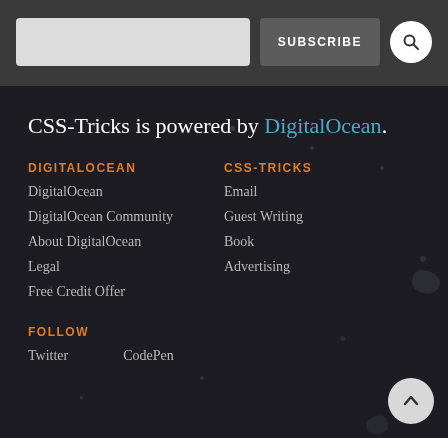[Figure (screenshot): Top navigation bar with search input field, SUBSCRIBE button, and search icon circle]
CSS-Tricks is powered by DigitalOcean.
DIGITALOCEAN
DigitalOcean
DigitalOcean Community
About DigitalOcean
Legal
Free Credit Offer
CSS-TRICKS
Email
Guest Writing
Book
Advertising
FOLLOW
Twitter
CodePen